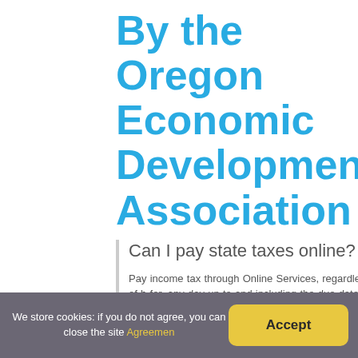By the Oregon Economic Development Association
Can I pay state taxes online?
Pay income tax through Online Services, regardless of h for, any day up to and including the due date. If you ap make your extension payment by the due date.
We store cookies: if you do not agree, you can close the site Agreemen
Accept